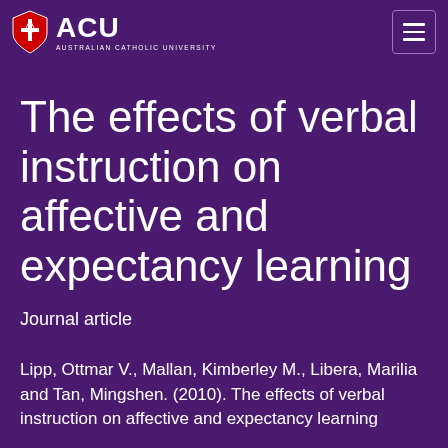ACU AUSTRALIAN CATHOLIC UNIVERSITY
The effects of verbal instruction on affective and expectancy learning
Journal article
Lipp, Ottmar V., Mallan, Kimberley M., Libera, Marilia and Tan, Mingshen. (2010). The effects of verbal instruction on affective and expectancy learning